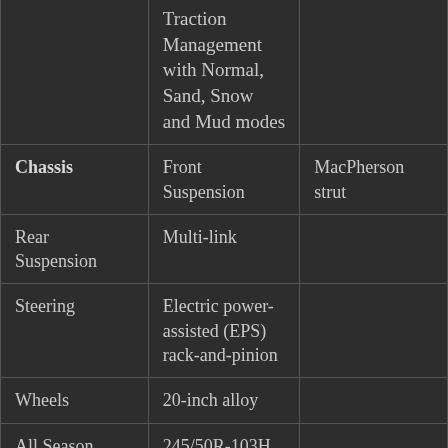|  | Traction Management with Normal, Sand, Snow and Mud modes |  |
| Chassis | Front Suspension | MacPherson strut |
| Rear Suspension | Multi-link |  |
| Steering | Electric power-assisted (EPS) rack-and-pinion |  |
| Wheels | 20-inch alloy |  |
| All Season | 245/50R-103H |  |